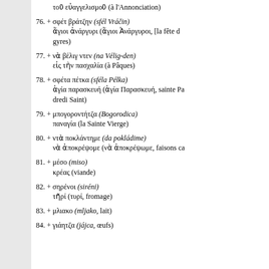τοῦ εὐαγγελισμοῦ (à l'Annonciation)
76. + σφέτ βράτζην (sfél Vráčin) ἄγιοι ἀνάργυρι (ἄγιοι Ἀνάργυροι, [la fête d gyres)
77. + νὰ βέλιγ ντεν (na Vélig-den) εἰς τὴν πασχαλία (à Pâques)
78. + σφέτα πέτκα (sféla Pélka) ἁγία παρασκευή (ἁγία Παρασκευή, sainte Pa dredi Saint)
79. + μπογοροντήτζα (Bogorodica) παναγία (la Sainte Vierge)
80. + ντὰ ποκλάντημε (da pokládime) νὰ ἀποκρέψομε (νὰ ἀποκρέψωμε, faisons ca
81. + μέσο (miso) κρέας (viande)
82. + σηρένοι (siréni) τῆρί (τυρί, fromage)
83. + μλιακο (mljako, lait)
84. + γιάητζα (jájca, œufs)